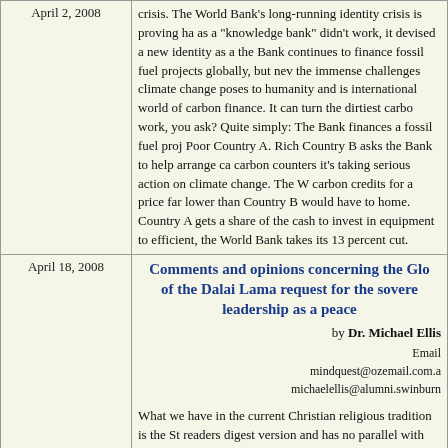| Date | Content |
| --- | --- |
| April 2, 2008 | crisis. The World Bank's long-running identity crisis is proving ha... as a "knowledge bank" didn't work, it devised a new identity as a ... the Bank continues to finance fossil fuel projects globally, but ne... the immense challenges climate change poses to humanity and is ... international world of carbon finance. It can turn the dirtiest carbo... work, you ask? Quite simply: The Bank finances a fossil fuel proj... Poor Country A. Rich Country B asks the Bank to help arrange ca... carbon counters it's taking serious action on climate change. The W... carbon credits for a price far lower than Country B would have to... home. Country A gets a share of the cash to invest in equipment to... efficient, the World Bank takes its 13 percent cut. |
| April 18, 2008 | Comments and opinions concerning the Glo... of the Dalai Lama request for the sovere... leadership as a peace... by Dr. Michael Ellis Email mindquest@ozemail.com.a... michaelellis@alumni.swinburn... What we have in the current Christian religious tradition is the St... readers digest version and has no parallel with the truth that the g... which is the same as what the Buddha taught. The Dalai Lama pr... version of this. I believe that his presence on the world stage mea... venerated without adequate understanding. He, for example, does... believes in the void as the basis of mind which is something whic... Tai the great Buddhist Sage and teacher to the emperors of China... teachings of the Buddha and was able to express the great secret... |